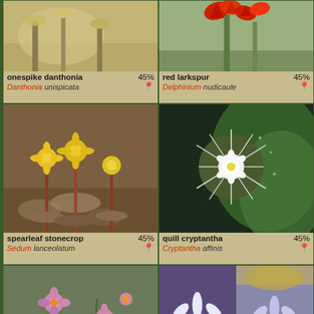[Figure (photo): onespike danthonia grass plant - top left card, partial view]
onespike danthonia 45%
Danthonia unispicata 📍
[Figure (photo): red larkspur - bright red flowers, top right card]
red larkspur 45%
Delphinium nudicaule 📍
[Figure (photo): spearleaf stonecrop - yellow flowers on rocky ground]
spearleaf stonecrop 45%
Sedum lanceolatum 📍
[Figure (photo): quill cryptantha - white spiny flower with cactus-like spines]
quill cryptantha 45%
Cryptantha affinis 📍
[Figure (photo): Brewer's monkey-flower - small pink flowers]
Brewer's monkey-flower 45%
[Figure (photo): bachelor's button - purple/white composite flowers, two images]
bachelor's button 45%